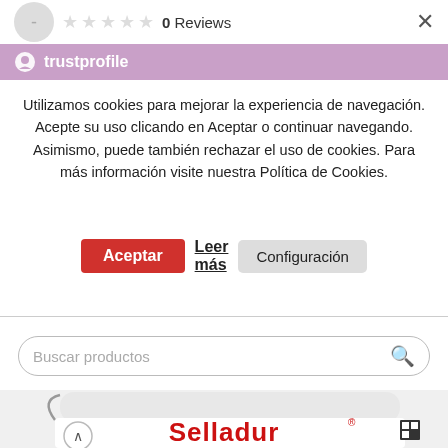☆☆☆☆☆ 0 Reviews
[Figure (logo): Trustprofile logo and purple header bar]
Utilizamos cookies para mejorar la experiencia de navegación. Acepte su uso clicando en Aceptar o continuar navegando. Asimismo, puede también rechazar el uso de cookies. Para más información visite nuestra Política de Cookies.
Aceptar  Leer más  Configuración
Buscar productos
[Figure (photo): White plastic bucket with red Selladur brand label, partially visible at bottom of page]